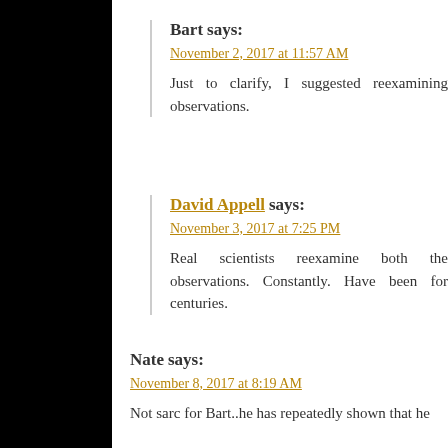Bart says:
November 2, 2017 at 11:57 AM
Just to clarify, I suggested reexamining observations.
David Appell says:
November 3, 2017 at 7:25 PM
Real scientists reexamine both the observations. Constantly. Have been for centuries.
Nate says:
November 8, 2017 at 8:19 AM
Not sarc for Bart..he has repeatedly shown that he